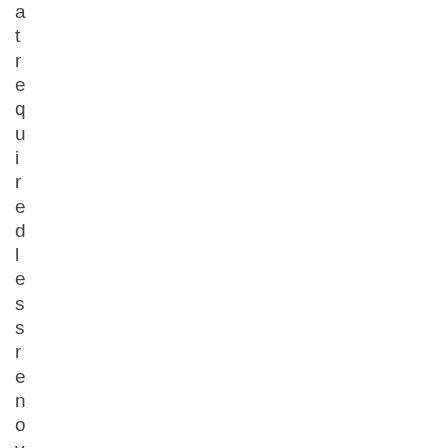at required less renovations. I wa